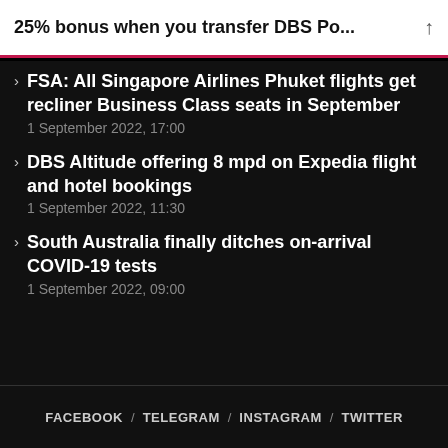25% bonus when you transfer DBS Po...
FSA: All Singapore Airlines Phuket flights get recliner Business Class seats in September
DBS Altitude offering 8 mpd on Expedia flight and hotel bookings
South Australia finally ditches on-arrival COVID-19 tests
FACEBOOK / TELEGRAM / INSTAGRAM / TWITTER